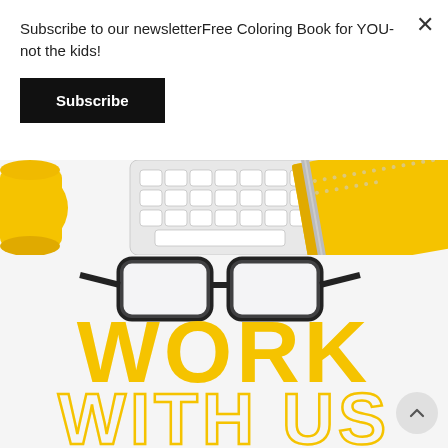Subscribe to our newsletterFree Coloring Book for YOU- not the kids!
Subscribe
[Figure (photo): A flat-lay photo of a desk with a yellow coffee cup on the left, a white keyboard, a yellow spiral notebook with a pen/stylus on top, and black rectangular eyeglasses in the center on a white surface. Below the photo, large bold yellow text reads 'WORK' and outlined yellow text reads 'WITH US'. A circular scroll-to-top button is visible in the bottom right.]